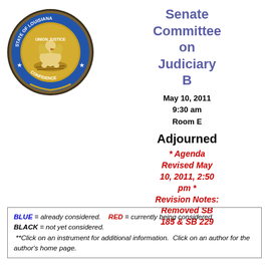[Figure (logo): State of Louisiana official seal — gold pelican on blue circular background with text 'State of Louisiana' and 'Union Justice Confidence']
Senate Committee on Judiciary B
May 10, 2011
9:30 am
Room E
Adjourned
* Agenda Revised May 10, 2011, 2:50 pm * Revision Notes: Removed SB 185 & SB 229
BLUE = already considered.   RED = currently being considered.
BLACK = not yet considered.
**Click on an instrument for additional information.  Click on an author for the author's home page.